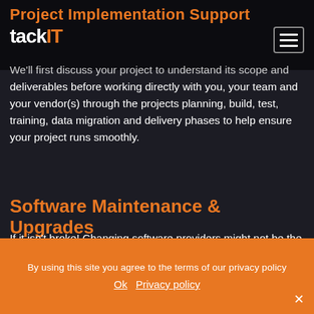tackIT
Project Implementation Support
We'll first discuss your project to understand its scope and deliverables before working directly with you, your team and your vendor(s) through the projects planning, build, test, training, data migration and delivery phases to help ensure your project runs smoothly.
Software Maintenance & Upgrades
If it isn't broke! Changing software providers might not be the answer. If your current system does everything you need but are concerned it is not being maintained and supported properly then we may be able to help with services such as: Version upgrades (WordPress, PHP, MySQL, IIS, Apache, Bond Adapt) Wordpress administration Issue Investigation
By using this site you agree to the terms of our privacy policy
Ok  Privacy policy